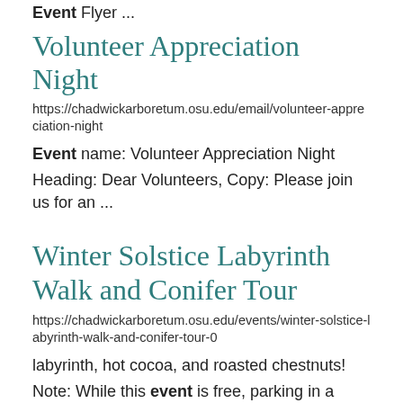Event Flyer ...
Volunteer Appreciation Night
https://chadwickarboretum.osu.edu/email/volunteer-appreciation-night
Event name:  Volunteer Appreciation Night
Heading:  Dear Volunteers, Copy:  Please join us for an ...
Winter Solstice Labyrinth Walk and Conifer Tour
https://chadwickarboretum.osu.edu/events/winter-solstice-labyrinth-walk-and-conifer-tour-0
labyrinth, hot cocoa, and roasted chestnuts!
Note: While this event is free, parking in a nearby parking